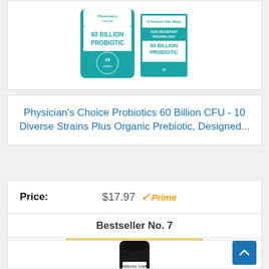[Figure (photo): Product photo showing two Physician's Choice 60 Billion Probiotic containers - a powder tub and a box with teal/white design]
Physician's Choice Probiotics 60 Billion CFU - 10 Diverse Strains Plus Organic Prebiotic, Designed...
Price: $17.97 Prime
Buy on Amazon
Bestseller No. 7
[Figure (photo): Product photo showing a dark glass bottle with Natures Craft branding]